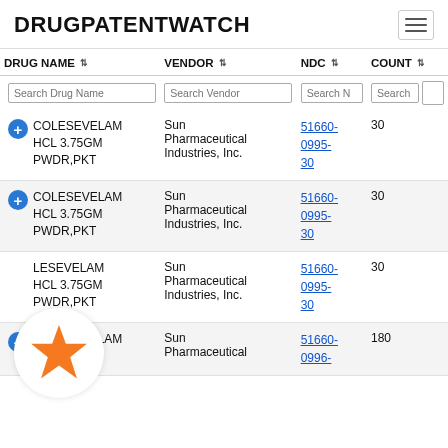DRUGPATENTWATCH
| DRUG NAME | VENDOR | NDC | COUNT |
| --- | --- | --- | --- |
| COLESEVELAM HCL 3.75GM PWDR,PKT | Sun Pharmaceutical Industries, Inc. | 51660-0995-30 | 30 |
| COLESEVELAM HCL 3.75GM PWDR,PKT | Sun Pharmaceutical Industries, Inc. | 51660-0995-30 | 30 |
| COLESEVELAM HCL 3.75GM PWDR,PKT | Sun Pharmaceutical Industries, Inc. | 51660-0995-30 | 30 |
| COLESEVELAM HCL 625MG | Sun Pharmaceutical | 51660-0996- | 180 |